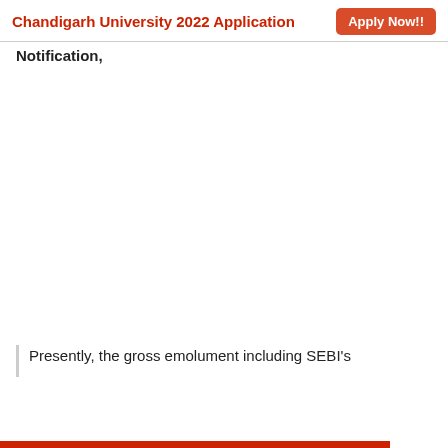Chandigarh University 2022 Application  Apply Now!!
Notification,
Presently, the gross emolument including SEBI's